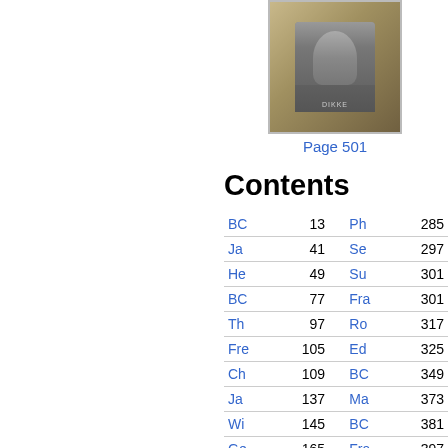[Figure (photo): A postage stamp showing a portrait of a man, with decorative border, yellowish background]
Page 501
Contents
| Name | Page | Name | Page |
| --- | --- | --- | --- |
| BC | 13 | Ph | 285 |
| Ja | 41 | Se | 297 |
| He | 49 | Su | 301 |
| BC | 77 | Fra | 301 |
| Th | 97 | Ro | 317 |
| Fre | 105 | Ed | 325 |
| Ch | 109 | BC | 349 |
| Ja | 137 | Ma | 373 |
| Wi | 145 | BC | 381 |
| Ge | 165 | Fra | 397 |
| Al | 188 | Oli | 401 |